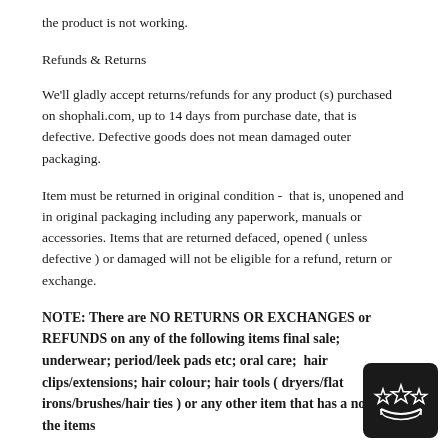the product is not working.
Refunds & Returns
We'll gladly accept returns/refunds for any product (s) purchased on shophali.com, up to 14 days from purchase date, that is defective. Defective goods does not mean damaged outer packaging.
Item must be returned in original condition -  that is, unopened and in original packaging including any paperwork, manuals or accessories. Items that are returned defaced, opened ( unless defective ) or damaged will not be eligible for a refund, return or exchange.
NOTE: There are NO RETURNS OR EXCHANGES or REFUNDS on any of the following items final sale; underwear; period/leek pads etc; oral care;  hair clips/extensions; hair colour; hair tools ( dryers/flat irons/brushes/hair ties ) or any other item that has a note on the items
[Figure (logo): Black rounded square badge with star/crown logo in white outline]